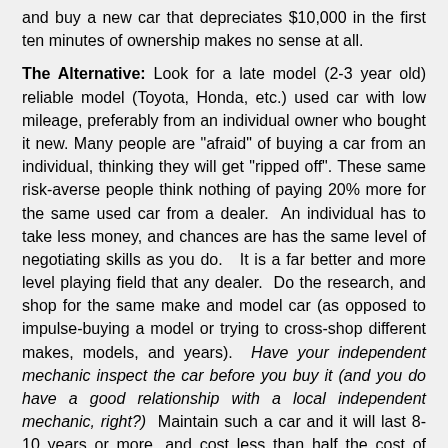and buy a new car that depreciates $10,000 in the first ten minutes of ownership makes no sense at all.
The Alternative: Look for a late model (2-3 year old) reliable model (Toyota, Honda, etc.) used car with low mileage, preferably from an individual owner who bought it new. Many people are "afraid" of buying a car from an individual, thinking they will get "ripped off". These same risk-averse people think nothing of paying 20% more for the same used car from a dealer. An individual has to take less money, and chances are has the same level of negotiating skills as you do. It is a far better and more level playing field that any dealer. Do the research, and shop for the same make and model car (as opposed to impulse-buying a model or trying to cross-shop different makes, models, and years). Have your independent mechanic inspect the car before you buy it (and you do have a good relationship with a local independent mechanic, right?) Maintain such a car and it will last 8-10 years or more, and cost less than half the cost of buying brand-new cars every 3 years to be "safe". And guess what? It can be just as reliable, if not more so, than a new car.